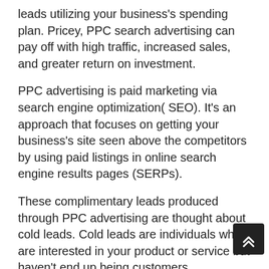leads utilizing your business's spending plan. Pricey, PPC search advertising can pay off with high traffic, increased sales, and greater return on investment.
PPC advertising is paid marketing via search engine optimization( SEO). It's an approach that focuses on getting your business's site seen above the competitors by using paid listings in online search engine results pages (SERPs).
These complimentary leads produced through PPC advertising are thought about cold leads. Cold leads are individuals who are interested in your product or service but haven't end up being customers.
One advantage about cold leads is they're also referred to as “opportunity leads.” Pay per click advertisements allow your business to reach cold leads, as they may have visited your site recently o